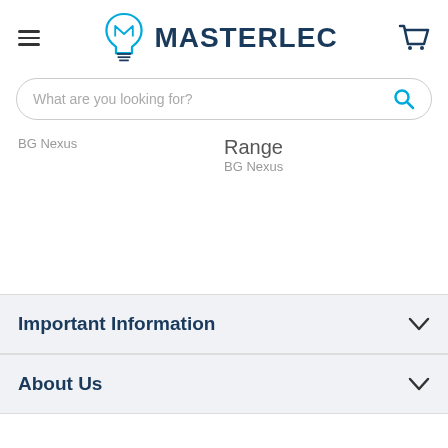[Figure (logo): Masterlec logo: lightbulb icon with 'MASTERLEC' text in dark navy blue]
What are you looking for?
BG Nexus
Range
BG Nexus
Important Information
About Us